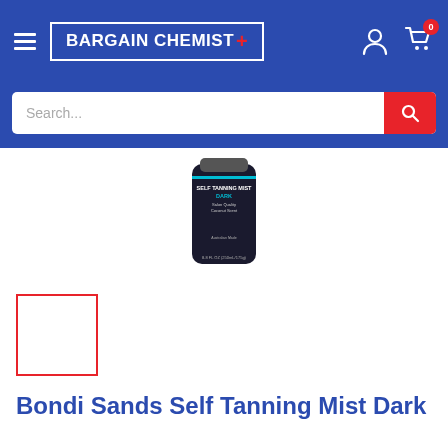BARGAIN CHEMIST+
[Figure (screenshot): Search bar with placeholder text 'Search...' and red search button]
[Figure (photo): Bondi Sands Self Tanning Mist Dark product bottle — black cylindrical container with blue and white label text reading SELF TANNING MIST DARK Salon Quality Coconut Scent, Australian Made, 8.8 FL OZ (250mL/175g)]
[Figure (photo): Empty thumbnail image placeholder with red border]
Bondi Sands Self Tanning Mist Dark